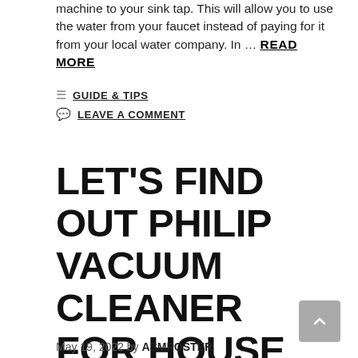machine to your sink tap. This will allow you to use the water from your faucet instead of paying for it from your local water company. In … READ MORE
GUIDE & TIPS
LEAVE A COMMENT
LET'S FIND OUT PHILIP VACUUM CLEANER FOR HOUSE CLEANING RIGHT NOW!
May 19, 2022 by ASMPOSTER